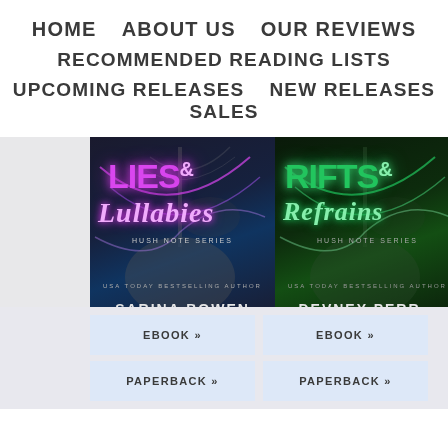HOME   ABOUT US   OUR REVIEWS   RECOMMENDED READING LISTS   UPCOMING RELEASES   NEW RELEASES   SALES
[Figure (illustration): Book cover: Lies & Lullabies by Sarina Bowen, Hush Note Series. Dark background with neon pink/purple glowing title text and guitar imagery.]
[Figure (illustration): Book cover: Rifts & Refrains by Devney Perry, Hush Note Series. Dark background with neon green glowing title text and guitar imagery.]
EBOOK »
EBOOK »
PAPERBACK »
PAPERBACK »